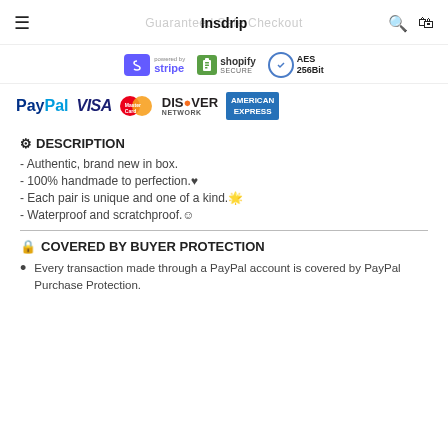Insdrip | Guaranteed Safe Checkout
[Figure (logo): Secure payment badges: Stripe (powered by), Shopify Secure, AES 256Bit]
[Figure (logo): Payment method logos: PayPal, VISA, MasterCard, Discover Network, American Express]
DESCRIPTION
- Authentic, brand new in box.
- 100% handmade to perfection.♥
- Each pair is unique and one of a kind.🌟
- Waterproof and scratchproof.☺
COVERED BY BUYER PROTECTION
Every transaction made through a PayPal account is covered by PayPal Purchase Protection.